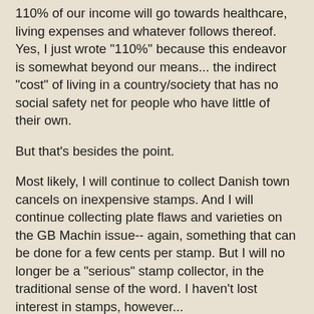110% of our income will go towards healthcare, living expenses and whatever follows thereof. Yes, I just wrote "110%" because this endeavor is somewhat beyond our means... the indirect "cost" of living in a country/society that has no social safety net for people who have little of their own.
But that's besides the point.
Most likely, I will continue to collect Danish town cancels on inexpensive stamps. And I will continue collecting plate flaws and varieties on the GB Machin issue-- again, something that can be done for a few cents per stamp. But I will no longer be a "serious" stamp collector, in the traditional sense of the word. I haven't lost interest in stamps, however...
It will be interesting to see how things go, with the sales... which I plan to have unfold over the next few months. Hopefully there are still some Denmark collectors and specialists with a taste for top quality material and varieties you rarely see.
A... if you are reading this and have a taste for collecting...